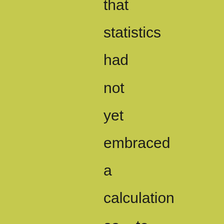that statistics had not yet embraced a calculation as to the number of ignorant or canting doctors which absolutely must